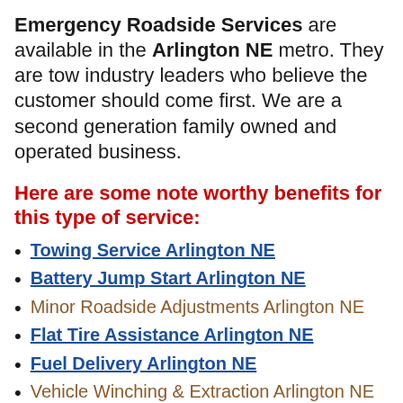Emergency Roadside Services are available in the Arlington NE metro. They are tow industry leaders who believe the customer should come first. We are a second generation family owned and operated business.
Here are some note worthy benefits for this type of service:
Towing Service Arlington NE
Battery Jump Start Arlington NE
Minor Roadside Adjustments Arlington NE
Flat Tire Assistance Arlington NE
Fuel Delivery Arlington NE
Vehicle Winching & Extraction Arlington NE